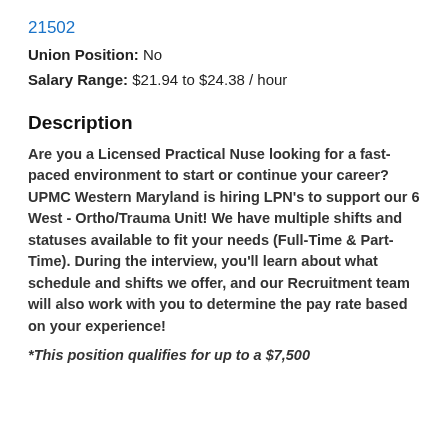21502
Union Position: No
Salary Range: $21.94 to $24.38 / hour
Description
Are you a Licensed Practical Nuse looking for a fast-paced environment to start or continue your career? UPMC Western Maryland is hiring LPN's to support our 6 West - Ortho/Trauma Unit! We have multiple shifts and statuses available to fit your needs (Full-Time & Part-Time). During the interview, you'll learn about what schedule and shifts we offer, and our Recruitment team will also work with you to determine the pay rate based on your experience!
*This position qualifies for up to a $7,500...